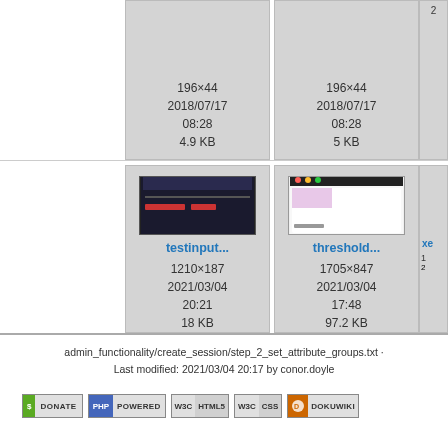[Figure (screenshot): Top row of thumbnail cells: two image thumbnails (196×44, 4.9 KB and 196×44, 5 KB, both dated 2018/07/17 08:28) and a partial third cell, on a light gray background]
[Figure (screenshot): Bottom row thumbnails: 'testinput...' (1210×187, 2021/03/04 20:21, 18 KB) showing a dark toolbar screenshot, and 'threshold...' (1705×847, 2021/03/04 17:48, 97.2 KB) showing a browser window screenshot, and partial third cell 'xe...']
admin_functionality/create_session/step_2_set_attribute_groups.txt · Last modified: 2021/03/04 20:17 by conor.doyle
[Figure (logo): Row of website badge icons: Donate, PHP Powered, W3C HTML5, W3C CSS, DokuWiki]